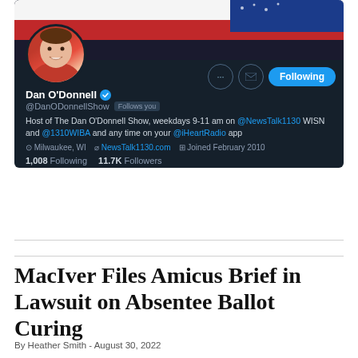[Figure (screenshot): Twitter/X profile page screenshot of Dan O'Donnell (@DanODonnellShow). Dark background profile card showing avatar, verified badge, bio, location (Milwaukee, WI), website (NewsTalk1130.com), join date (February 2010), 1,008 Following, 11.7K Followers.]
MacIver Files Amicus Brief in Lawsuit on Absentee Ballot Curing
By Heather Smith - August 30, 2022